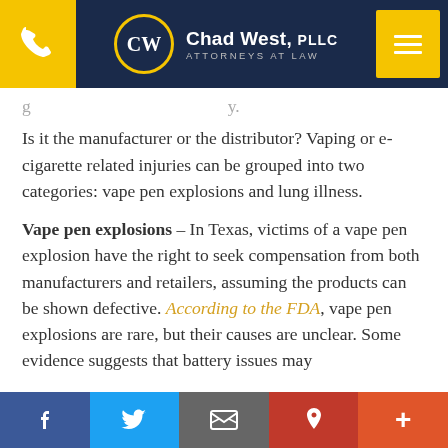Chad West, PLLC — Attorneys at Law
g... ... ... ... ... ... ... ... ... ... ... y. Is it the manufacturer or the distributor? Vaping or e-cigarette related injuries can be grouped into two categories: vape pen explosions and lung illness.
Vape pen explosions – In Texas, victims of a vape pen explosion have the right to seek compensation from both manufacturers and retailers, assuming the products can be shown defective. According to the FDA, vape pen explosions are rare, but their causes are unclear. Some evidence suggests that battery issues may
Facebook | Twitter | Email | Pinterest | +